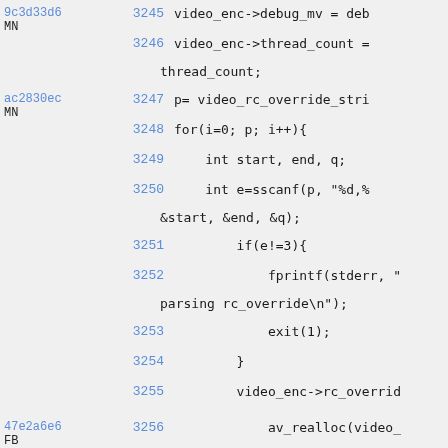Source code viewer showing lines 3245-3257 of a C file with git blame annotations
9c3d33d6 MN  3245  video_enc->debug_mv = deb
3246  video_enc->thread_count = thread_count;
ac2830ec MN  3247  p= video_rc_override_stri
3248  for(i=0; p; i++){
3249      int start, end, q;
3250      int e=sscanf(p, "%d,% &start, &end, &q);
3251      if(e!=3){
3252          fprintf(stderr, " parsing rc_override\n");
3253          exit(1);
3254      }
3255      video_enc->rc_overrid
47e2a6e6 FB  3256      av_realloc(video_ >rc_override,
3257  sizeof(RcOverride)*(i+1));